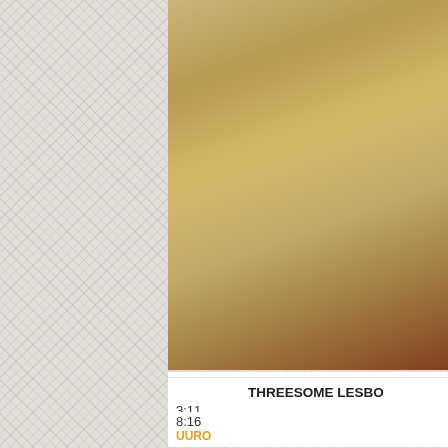[Figure (screenshot): Light gray textured background occupying the left portion of the page]
[Figure (screenshot): Video thumbnail showing blurred/close-up image with warm golden tones]
AGIKA MAS...
3:11
HAMMY
AMATEUR, MASTURBAT...
[Figure (screenshot): Video thumbnail showing two people in a bedroom setting]
THREESOME LESBO...
8:16
UURO...